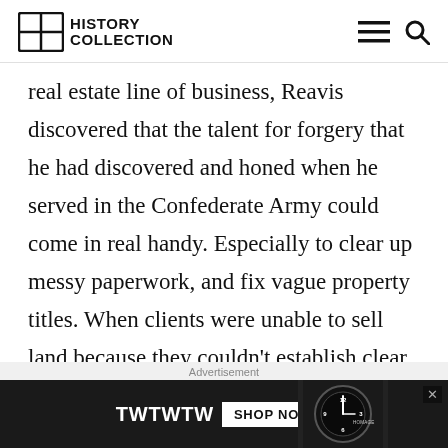History Collection
real estate line of business, Reavis discovered that the talent for forgery that he had discovered and honed when he served in the Confederate Army could come in real handy. Especially to clear up messy paperwork, and fix vague property titles. When clients were unable to sell land because they couldn't establish clear ownership, Reavis would magically produce some document that everybody
Advertisement
[Figure (other): Advertisement banner for TWTWTW watch shop with dark background showing a watch face and 'SHOP NOW' button]